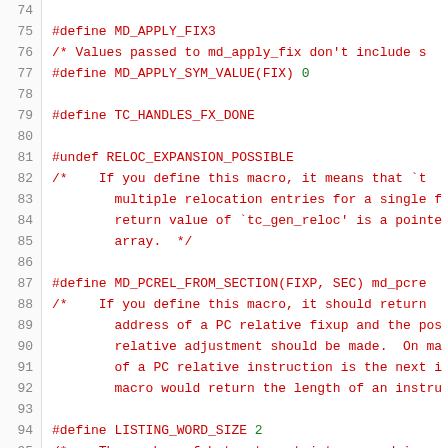[Figure (screenshot): Source code listing showing C preprocessor macros and comments, lines 74-95, with line numbers on the left and code on the right. Dark red/maroon colored code on white background.]